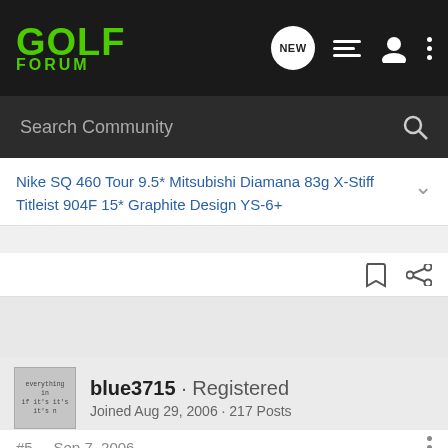GOLF FORUM
Search Community
Nike SQ 460 Tour 9.5* Mitsubishi Diamana 83g X-Stiff Titleist 904F 15* Graphite Design YS-6+
blue3715 · Registered
Joined Aug 29, 2006 · 217 Posts
#5 · Sep 7, 2006
You seem like a good golfer. Driver 3 wood and 2i-pw. I almost went with the Mizunos (23's or 60's) but ended up with the Callaway x18 proseries. At a 9 hdcp I felt this was the better move.